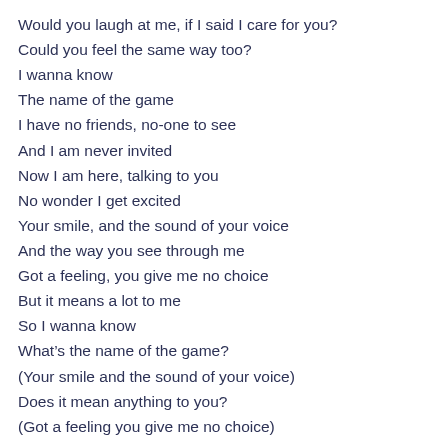Would you laugh at me, if I said I care for you?
Could you feel the same way too?
I wanna know
The name of the game
I have no friends, no-one to see
And I am never invited
Now I am here, talking to you
No wonder I get excited
Your smile, and the sound of your voice
And the way you see through me
Got a feeling, you give me no choice
But it means a lot to me
So I wanna know
What's the name of the game?
(Your smile and the sound of your voice)
Does it mean anything to you?
(Got a feeling you give me no choice)